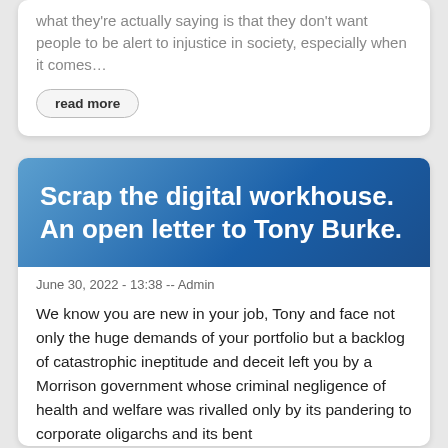what they're actually saying is that they don't want people to be alert to injustice in society, especially when it comes…
read more
Scrap the digital workhouse. An open letter to Tony Burke.
June 30, 2022 - 13:38 -- Admin
We know you are new in your job, Tony and face not only the huge demands of your portfolio but a backlog of catastrophic ineptitude and deceit left you by a Morrison government whose criminal negligence of health and welfare was rivalled only by its pandering to corporate oligarchs and its bent